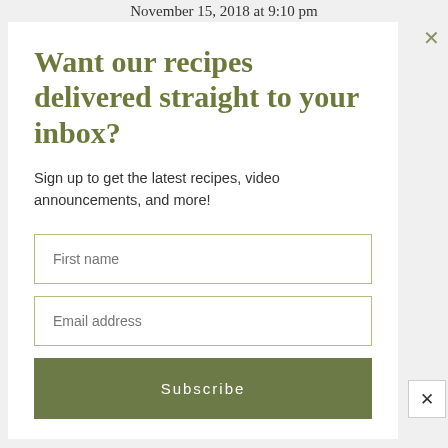November 15, 2018 at 9:10 pm
Want our recipes delivered straight to your inbox?
Sign up to get the latest recipes, video announcements, and more!
First name
Email address
Subscribe